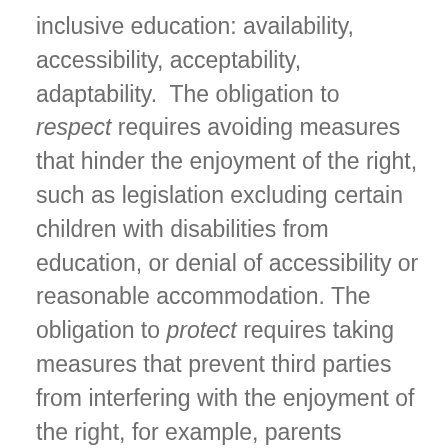inclusive education: availability, accessibility, acceptability, adaptability. The obligation to respect requires avoiding measures that hinder the enjoyment of the right, such as legislation excluding certain children with disabilities from education, or denial of accessibility or reasonable accommodation. The obligation to protect requires taking measures that prevent third parties from interfering with the enjoyment of the right, for example, parents refusing to send girls with disabilities to school, or private institutions refusing to enrol persons with disabilities based on their impairment. The obligation to fulfill requires taking measures that enable and assist persons with disabilities to enjoy the right to education, for example, that education institutions are accessible and that education systems are adapted appropriately with resources